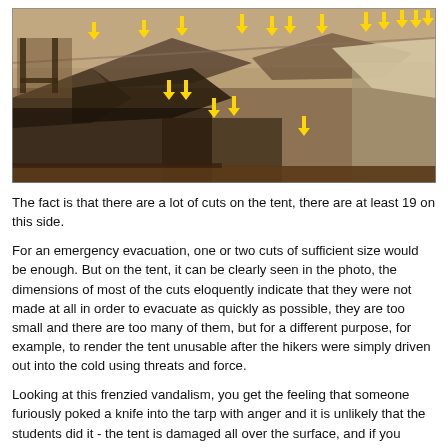[Figure (photo): Sepia-toned historical photograph of a damaged tent interior with numerous cuts/slashes visible. Yellow downward-pointing arrows annotate the cut locations throughout the tent fabric.]
The fact is that there are a lot of cuts on the tent, there are at least 19 on this side.
For an emergency evacuation, one or two cuts of sufficient size would be enough. But on the tent, it can be clearly seen in the photo, the dimensions of most of the cuts eloquently indicate that they were not made at all in order to evacuate as quickly as possible, they are too small and there are too many of them, but for a different purpose, for example, to render the tent unusable after the hikers were simply driven out into the cold using threats and force.
Looking at this frenzied vandalism, you get the feeling that someone furiously poked a knife into the tarp with anger and it is unlikely that the students did it - the tent is damaged all over the surface, and if you consider that there were nine people inside, move along it with a knife to poke here and there and here and here, it would be simply unrealistic.